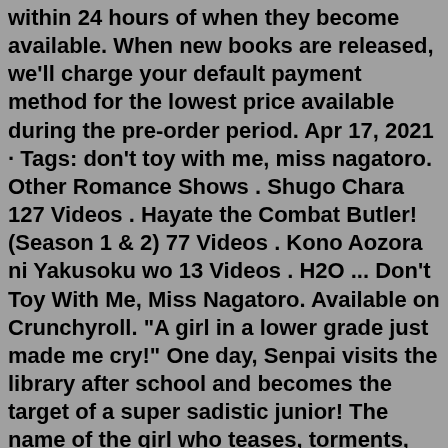within 24 hours of when they become available. When new books are released, we'll charge your default payment method for the lowest price available during the pre-order period. Apr 17, 2021 · Tags: don't toy with me, miss nagatoro. Other Romance Shows . Shugo Chara 127 Videos . Hayate the Combat Butler! (Season 1 & 2) 77 Videos . Kono Aozora ni Yakusoku wo 13 Videos . H2O ... Don't Toy With Me, Miss Nagatoro. Available on Crunchyroll. "A girl in a lower grade just made me cry!" One day, Senpai visits the library after school and becomes the target of a super sadistic junior! The name of the girl who teases, torments, and tantalizes Senpai is "Nagatoro!" She's annoying yet adorable. Aug 06, 2022 · A brand new trailer for season 2 of the Don't Toy With Me, Miss Nagatoro anime has just premiered, confirming a January 2023 release. The 2021 Spring anime slate may have been dominated by My ... 'Ijiranaide, Nagatoro-san' Gets Second Season The special event for the Ijiranaide, Nagatoro-san (Don't Toy with Me, Miss Nagatoro) anime series announced a second